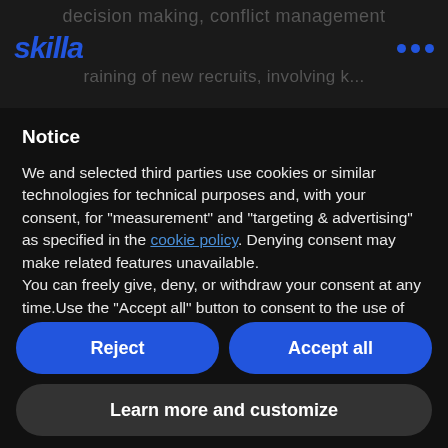decision making, conflict management
[Figure (logo): Skilla logo in blue italic bold text on dark background]
raining of new recruits, involving k...
Notice
We and selected third parties use cookies or similar technologies for technical purposes and, with your consent, for “measurement” and “targeting & advertising” as specified in the cookie policy. Denying consent may make related features unavailable.
You can freely give, deny, or withdraw your consent at any time.Use the “Accept all” button to consent to the use of such technologies. Use the “Reject” button to continue without accepting.
Reject
Accept all
Learn more and customize